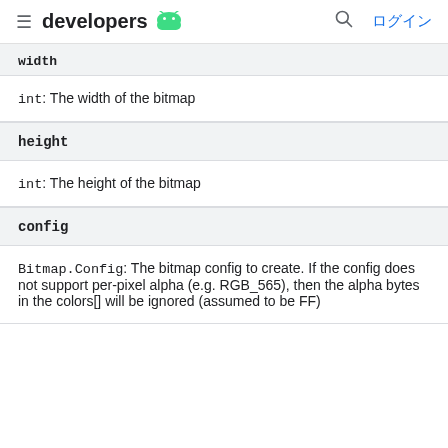developers (android logo) ログイン
width
int: The width of the bitmap
height
int: The height of the bitmap
config
Bitmap.Config: The bitmap config to create. If the config does not support per-pixel alpha (e.g. RGB_565), then the alpha bytes in the colors[] will be ignored (assumed to be FF)